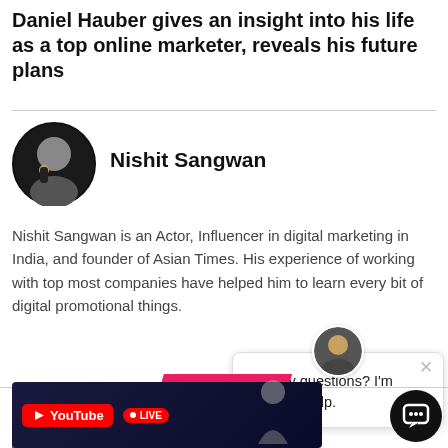Daniel Hauber gives an insight into his life as a top online marketer, reveals his future plans
[Figure (photo): Circular avatar photo of Nishit Sangwan]
Nishit Sangwan
Nishit Sangwan is an Actor, Influencer in digital marketing in India, and founder of Asian Times. His experience of working with top most companies have helped him to learn every bit of digital promotional things.
[Figure (photo): Photo of Tony Delgado]
Tony Delgado
[Figure (logo): YouTube button]
[Figure (screenshot): Chat popup with avatar and message: Got any questions? I'm happy to help.]
[Figure (screenshot): NEW VIDEOS banner strip]
[Figure (screenshot): YouTube LIVE thumbnail at bottom of page]